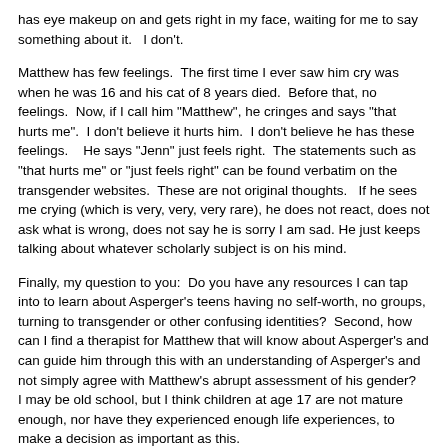has eye makeup on and gets right in my face, waiting for me to say something about it.   I don't.
Matthew has few feelings.  The first time I ever saw him cry was when he was 16 and his cat of 8 years died.  Before that, no feelings.  Now, if I call him "Matthew", he cringes and says "that hurts me".  I don't believe it hurts him.  I don't believe he has these feelings.    He says "Jenn" just feels right.  The statements such as "that hurts me" or "just feels right" can be found verbatim on the transgender websites.  These are not original thoughts.   If he sees me crying (which is very, very, very rare), he does not react, does not ask what is wrong, does not say he is sorry I am sad.  He just keeps talking about whatever scholarly subject is on his mind.
Finally, my question to you:  Do you have any resources I can tap into to learn about Asperger's teens having no self-worth, no groups, turning to transgender or other confusing identities?  Second, how can I find a therapist for Matthew that will know about Asperger's and can guide him through this with an understanding of Asperger's and not simply agree with Matthew's abrupt assessment of his gender?   I may be old school, but I think children at age 17 are not mature enough, nor have they experienced enough life experiences, to make a decision as important as this.
~~~~~~~~~~~~~~~~~~~~~~~~~~~~~~~~~~
I have a teenage son 14 who is out of control , and getting worse he has been diagnosed with multiple things over a course of several years.